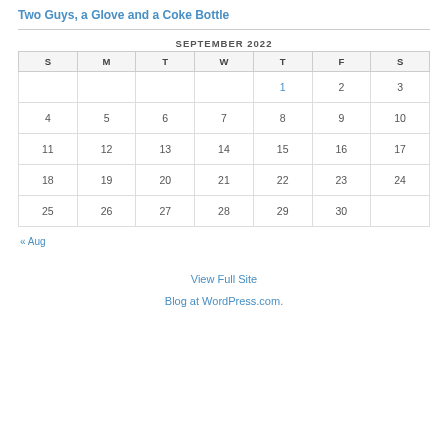Two Guys, a Glove and a Coke Bottle
| S | M | T | W | T | F | S |
| --- | --- | --- | --- | --- | --- | --- |
|  |  |  |  | 1 | 2 | 3 |
| 4 | 5 | 6 | 7 | 8 | 9 | 10 |
| 11 | 12 | 13 | 14 | 15 | 16 | 17 |
| 18 | 19 | 20 | 21 | 22 | 23 | 24 |
| 25 | 26 | 27 | 28 | 29 | 30 |  |
« Aug
View Full Site
Blog at WordPress.com.